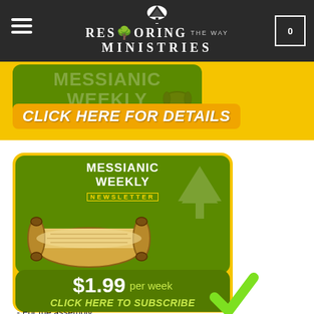Restoring The Way Ministries — navigation header with cart (0)
[Figure (screenshot): Green card with faded Messianic Weekly watermark text and scroll graphic on yellow background, with CLICK HERE FOR DETAILS button]
CLICK HERE FOR DETAILS
[Figure (screenshot): Messianic Weekly Newsletter green card with scroll illustration and tree watermark logo]
WEEKLY TORAH PORTION TEACHINGS
- For all ages
- For the family
- For the assembly
- Torah based, Yeshua centered
$1.99 per week
CLICK HERE TO SUBSCRIBE